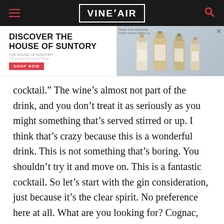VINEPAIR
[Figure (screenshot): Advertisement banner for House of Suntory with text 'DISCOVER THE HOUSE OF SUNTORY' and bottles image on the right, with a red SHOP NOW button]
cocktail.” The wine’s almost not part of the drink, and you don’t treat it as seriously as you might something that’s served stirred or up. I think that’s crazy because this is a wonderful drink. This is not something that’s boring. You shouldn’t try it and move on. This is a fantastic cocktail. So let’s start with the gin consideration, just because it’s the clear spirit. No preference here at all. What are you looking for? Cognac, like you said, has many styles. But g
[Figure (screenshot): Advertisement banner for Single Estate Tequila Ocho with dark teal background, bottle image, and 'LEARN MORE' button]